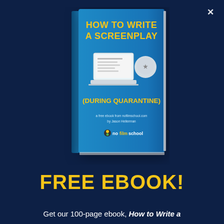[Figure (illustration): Book cover of 'How to Write a Screenplay (During Quarantine)' — a free ebook from nofilmschool.com by Jason Hellerman, showing a laptop and award icon on a blue book cover with yellow text. Book is shown in 3D perspective. A close/dismiss X button appears in the top right corner.]
FREE EBOOK!
Get our 100-page ebook, How to Write a